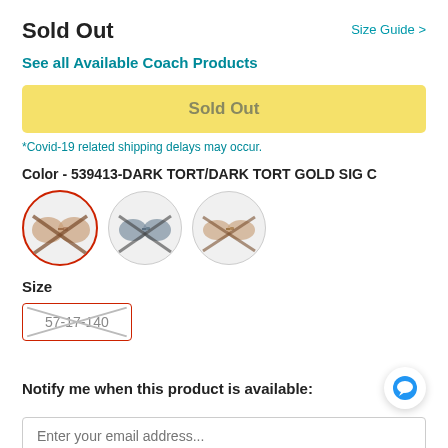Sold Out
Size Guide >
See all Available Coach Products
Sold Out
*Covid-19 related shipping delays may occur.
Color - 539413-DARK TORT/DARK TORT GOLD SIG C
[Figure (illustration): Three color swatch circles showing sunglasses options, each with an X overlay indicating sold out. The first is selected (red border), showing brown tortoise sunglasses; second shows dark sunglasses; third shows brown sunglasses.]
Size
57-17-140
Notify me when this product is available:
Enter your email address...